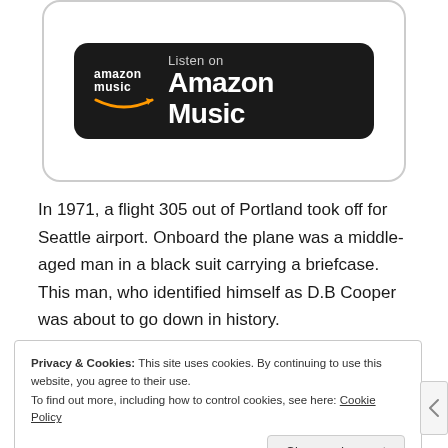[Figure (logo): Amazon Music badge with black rounded rectangle background, Amazon Music logo on left with smile icon, and 'Listen on Amazon Music' text on right]
In 1971, a flight 305 out of Portland took off for Seattle airport. Onboard the plane was a middle-aged man in a black suit carrying a briefcase. This man, who identified himself as D.B Cooper was about to go down in history.
Privacy & Cookies: This site uses cookies. By continuing to use this website, you agree to their use.
To find out more, including how to control cookies, see here: Cookie Policy
Close and accept